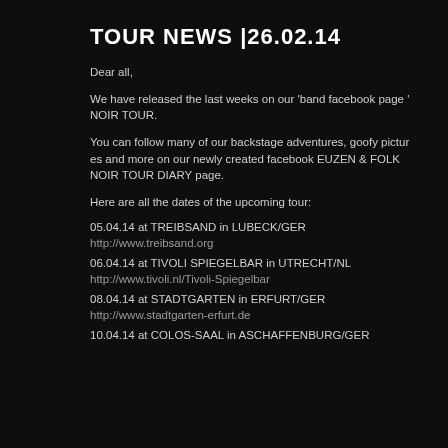TOUR NEWS |26.02.14
Dear all,
We have released the last weeks on our 'band facebook page ' NOIR TOUR.
You can follow many of our backstage adventures, goofy pictures and more on our newly created facebook EUZEN & FOLK NOIR TOUR DIARY page.
Here are all the dates of the upcoming tour:
05.04.14 at TREIBSAND in LUBECK/GER
http://www.treibsand.org
06.04.14 at TIVOLI SPIEGELBAR in UTRECHT/NL
http://www.tivoli.nl/Tivoli-Spiegelbar
08.04.14 at STADTGARTEN in ERFURT/GER
http://www.stadtgarten-erfurt.de
10.04.14 at COLOS-SAAL in ASCHAFFENBURG/GER